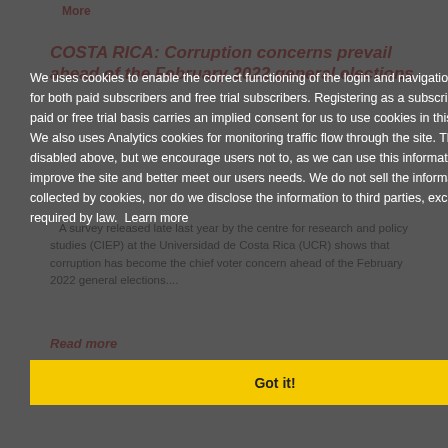More
COSTA RICA: Corruption concerns prevail ahead of the February 2022 general elections
A survey released late last year by the centre for research and policy studies (CIEP) at the Universidad de Costa Rica (UCR) shows that corruption has become the chief voter concern ahead of the February 2022 general elections....
Read more
COSTA RICA/PANAMA: First moves in extending marine biosphere reserves
Late last year Costa Rica and Panama joined Colombia and Ecuador in signing an agreement to discuss extending the Eastern Tropical Pacific Marine Corridor (CMAR) to make an interconnected protected area.... Read More
CARIBBEAN
BARBADOS: Mottley calls early election
We uses cookies to enable the correct functioning of the login and navigation facilities for both paid subscribers and free trial subscribers. Registering as a subscriber on a paid or free trial basis carries an implied consent for us to use cookies in this manner. We also uses Analytics cookies for monitoring traffic flow through the site. These can be disabled above, but we encourage users not to, as we can use this information to improve the site and better meet our users needs. We do not sell the information collected by cookies, nor do we disclose the information to third parties, except where required by law. Learn more
Got it!